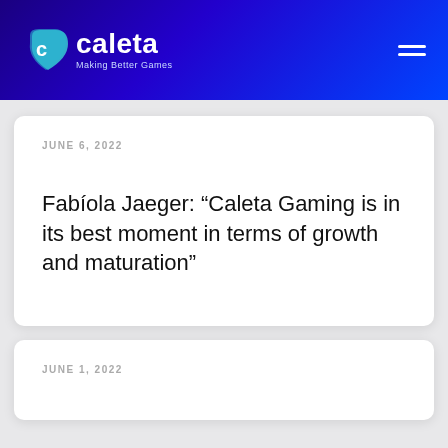[Figure (logo): Caleta Gaming logo with teal shield-like icon and tagline 'Making Better Games' on dark blue gradient header background]
JUNE 6, 2022
Fabíola Jaeger: “Caleta Gaming is in its best moment in terms of growth and maturation”
JUNE 1, 2022